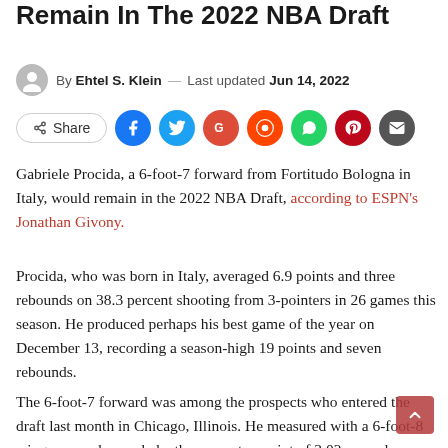Remain In The 2022 NBA Draft
By Ehtel S. Klein — Last updated Jun 14, 2022
[Figure (infographic): Social share buttons row: Share button, Facebook, Twitter, Google, Reddit, WhatsApp, Pinterest, Email icons]
Gabriele Procida, a 6-foot-7 forward from Fortitudo Bologna in Italy, would remain in the 2022 NBA Draft, according to ESPN's Jonathan Givony.
Procida, who was born in Italy, averaged 6.9 points and three rebounds on 38.3 percent shooting from 3-pointers in 26 games this season. He produced perhaps his best game of the year on December 13, recording a season-high 19 points and seven rebounds.
The 6-foot-7 forward was among the prospects who entered the draft last month in Chicago, Illinois. He measured with a 6-foot-8 wingspan and recorded a three-quarter sprint of 3.02 seconds, which was tied for the fastest time.